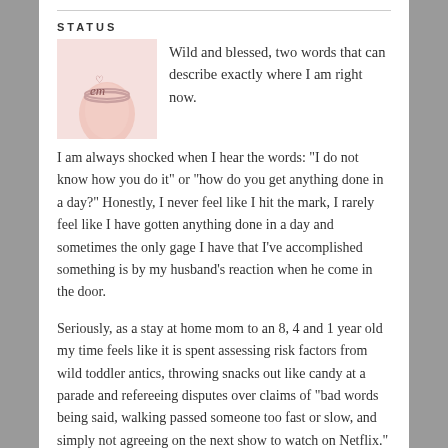STATUS
[Figure (illustration): A hand wearing a ring with cursive lettering 'em' and a small heart, soft pink tones]
Wild and blessed, two words that can describe exactly where I am right now.
I am always shocked when I hear the words: "I do not know how you do it" or "how do you get anything done in a day?" Honestly, I never feel like I hit the mark, I rarely feel like I have gotten anything done in a day and sometimes the only gage I have that I've accomplished something is by my husband's reaction when he come in the door.
Seriously, as a stay at home mom to an 8, 4 and 1 year old my time feels like it is spent assessing risk factors from wild toddler antics, throwing snacks out like candy at a parade and refereeing disputes over claims of "bad words being said, walking passed someone too fast or slow, and simply not agreeing on the next show to watch on Netflix." And yes, my children watch Netflix, I mean yeah, I could totally